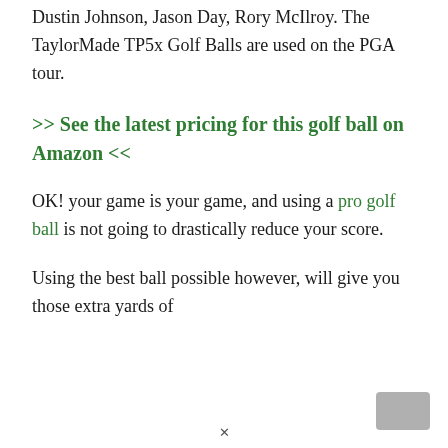Dustin Johnson, Jason Day, Rory McIlroy. The TaylorMade TP5x Golf Balls are used on the PGA tour.
>> See the latest pricing for this golf ball on Amazon <<
OK! your game is your game, and using a pro golf ball is not going to drastically reduce your score.
Using the best ball possible however, will give you those extra yards of